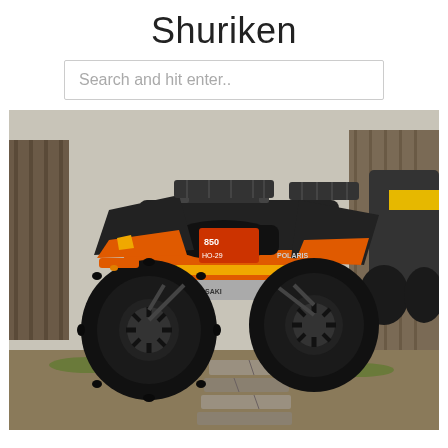Shuriken
Search and hit enter..
[Figure (photo): Orange and black Polaris ATV/quad with large mud tires and black rims parked on dirt and stone pavers, with another ATV visible in the background near a wooden barn structure.]